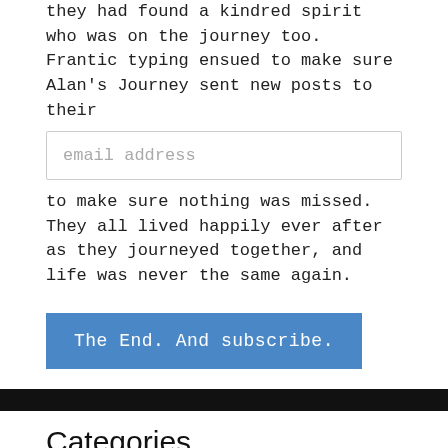they had found a kindred spirit who was on the journey too. Frantic typing ensued to make sure Alan's Journey sent new posts to their
email address
to make sure nothing was missed. They all lived happily ever after as they journeyed together, and life was never the same again.
The End. And subscribe.
Categories
Business (40)
Investing (3)
Lifestyle Design (9)
Online Services (14)
The Gift Economy (5)